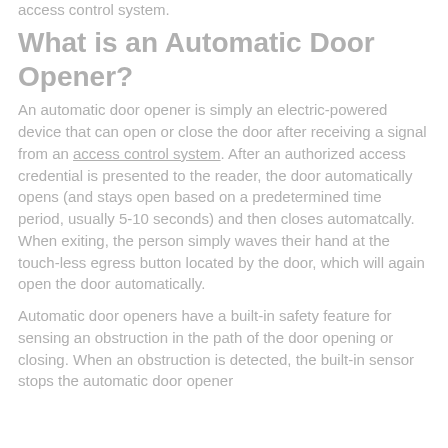access control system.
What is an Automatic Door Opener?
An automatic door opener is simply an electric-powered device that can open or close the door after receiving a signal from an access control system. After an authorized access credential is presented to the reader, the door automatically opens (and stays open based on a predetermined time period, usually 5-10 seconds) and then closes automatcally. When exiting, the person simply waves their hand at the touch-less egress button located by the door, which will again open the door automatically.
Automatic door openers have a built-in safety feature for sensing an obstruction in the path of the door opening or closing. When an obstruction is detected, the built-in sensor stops the automatic door opener